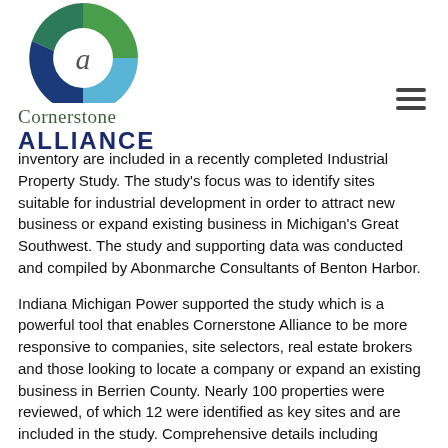[Figure (logo): Cornerstone Alliance logo: circular icon with green, teal, dark blue and light blue segments forming a stylized letter C, with 'Cornerstone' in green serif font and 'ALLIANCE' in bold dark blue caps below]
inventory are included in a recently completed Industrial Property Study. The study's focus was to identify sites suitable for industrial development in order to attract new business or expand existing business in Michigan's Great Southwest. The study and supporting data was conducted and compiled by Abonmarche Consultants of Benton Harbor.
Indiana Michigan Power supported the study which is a powerful tool that enables Cornerstone Alliance to be more responsive to companies, site selectors, real estate brokers and those looking to locate a company or expand an existing business in Berrien County. Nearly 100 properties were reviewed, of which 12 were identified as key sites and are included in the study. Comprehensive details including zoning, topography, soil conditions